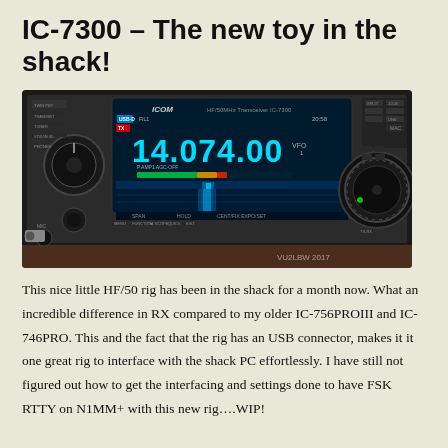IC-7300 – The new toy in the shack!
[Figure (photo): Photo of Icom IC-7300 HF/50 transceiver displaying 14.074.00 MHz on its touchscreen, with waterfall display and various controls visible. Watermark: VU2LBW 2017]
This nice little HF/50 rig has been in the shack for a month now. What an incredible difference in RX compared to my older IC-756PROIII and IC-746PRO. This and the fact that the rig has an USB connector, makes it it one great rig to interface with the shack PC effortlessly. I have still not figured out how to get the interfacing and settings done to have FSK RTTY on N1MM+ with this new rig….WIP!